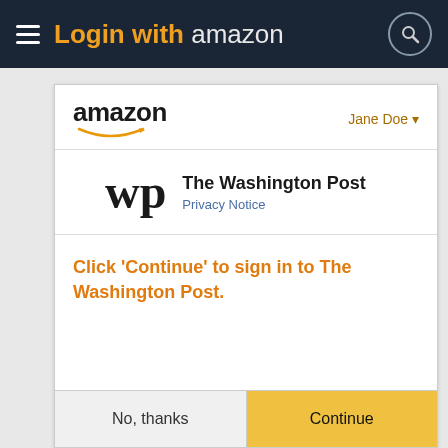Login with amazon
[Figure (screenshot): Amazon OAuth login dialog for The Washington Post, showing Amazon logo, Jane Doe user, Washington Post logo with Privacy Notice link, a prompt to click Continue, and No thanks / Continue buttons]
Click 'Continue' to sign in to The Washington Post.